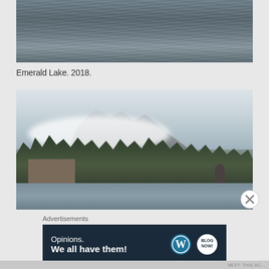[Figure (photo): Close-up of dark rippling water surface, Emerald Lake]
Emerald Lake. 2018.
[Figure (photo): Emerald Lake 2018 — snow-capped mountain peak with clouds, dense evergreen forest, lake in foreground with a wooden bridge, cabins on the left, a person with umbrella on the right shore]
Advertisements
[Figure (infographic): Advertisement banner: 'Opinions. We all have them!' with WordPress logo and another blog logo on dark navy background]